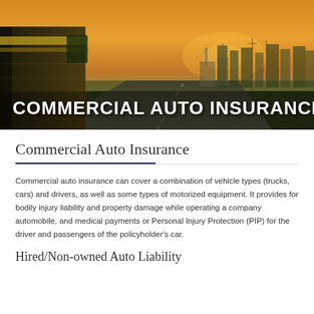[Figure (photo): Hero image showing a commercial truck on a highway at sunset/dusk with orange sky, industrial buildings and power lines in the background, overlaid with bold white text reading COMMERCIAL AUTO INSURANCE]
COMMERCIAL AUTO INSURANCE
Commercial Auto Insurance
Commercial auto insurance can cover a combination of vehicle types (trucks, cars) and drivers, as well as some types of motorized equipment. It provides for bodily injury liability and property damage while operating a company automobile, and medical payments or Personal Injury Protection (PIP) for the driver and passengers of the policyholder's car.
Hired/Non-owned Auto Liability